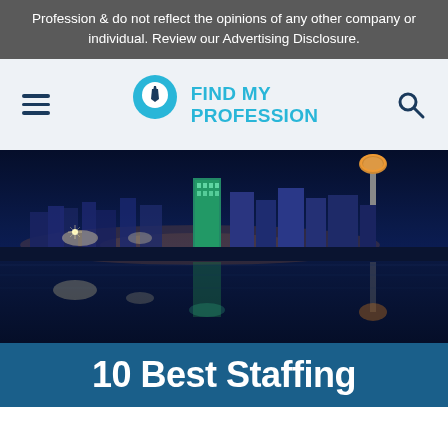Profession & do not reflect the opinions of any other company or individual. Review our Advertising Disclosure.
[Figure (logo): Find My Profession logo with location pin icon and text FIND MY PROFESSION in teal/cyan color]
[Figure (photo): Dallas city skyline at night reflected in water, with illuminated skyscrapers including the Reunion Tower ball]
10 Best Staffing